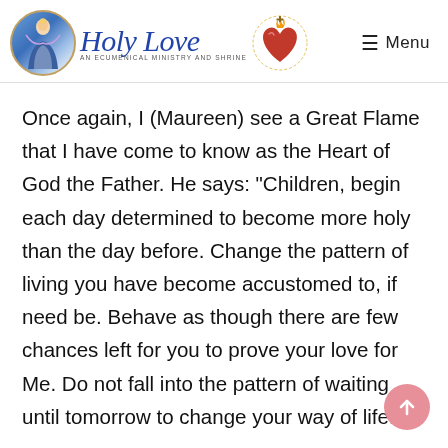HolyLove — An Ecumenical Ministry and Shrine | Menu
Once again, I (Maureen) see a Great Flame that I have come to know as the Heart of God the Father. He says: "Children, begin each day determined to become more holy than the day before. Change the pattern of living you have become accustomed to, if need be. Behave as though there are few chances left for you to prove your love for Me. Do not fall into the pattern of waiting until tomorrow to change your way of life."